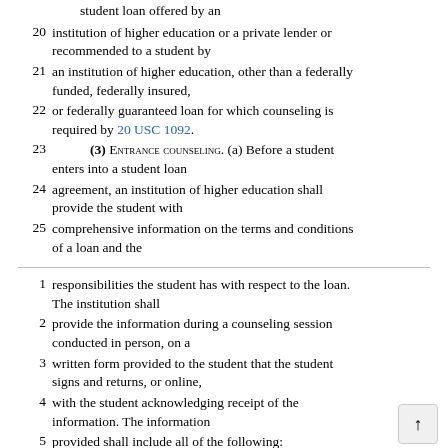(2) Applicability. This section applies to any student loan offered by an
20 institution of higher education or a private lender or recommended to a student by
21 an institution of higher education, other than a federally funded, federally insured,
22 or federally guaranteed loan for which counseling is required by 20 USC 1092.
23 (3) ENTRANCE COUNSELING. (a) Before a student enters into a student loan
24 agreement, an institution of higher education shall provide the student with
25 comprehensive information on the terms and conditions of a loan and the
1 responsibilities the student has with respect to the loan. The institution shall
2 provide the information during a counseling session conducted in person, on a
3 written form provided to the student that the student signs and returns, or online,
4 with the student acknowledging receipt of the information. The information
5 provided shall include all of the following:
6 1. To the extent practicable, the effect of